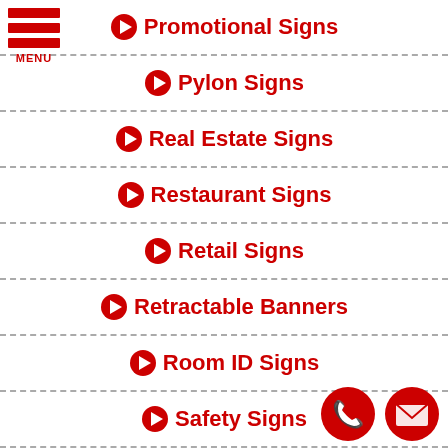[Figure (logo): Red hamburger menu icon with three horizontal bars and MENU label]
➔ Promotional Signs
➔ Pylon Signs
➔ Real Estate Signs
➔ Restaurant Signs
➔ Retail Signs
➔ Retractable Banners
➔ Room ID Signs
➔ Safety Signs
➔ Sandblasted Signs
[Figure (other): Phone and email contact icons (red circles with white phone and envelope icons)]